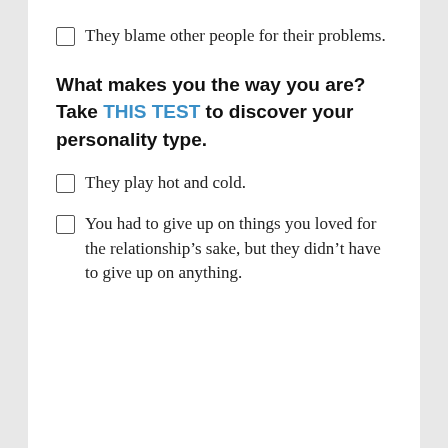They blame other people for their problems.
What makes you the way you are? Take THIS TEST to discover your personality type.
They play hot and cold.
You had to give up on things you loved for the relationship's sake, but they didn't have to give up on anything.